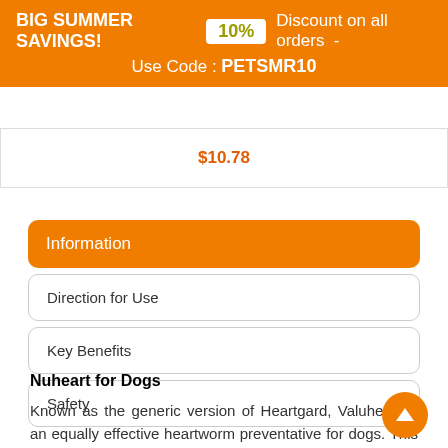BIG SUMMER SAVINGS! 10% Discount on all orders - Use Code : PETSMR10
$10.78
Information
Direction for Use
Key Benefits
Safety
Nuheart for Dogs
Known as the generic version of Heartgard, Valuheart is an equally effective heartworm preventative for dogs. This product treats